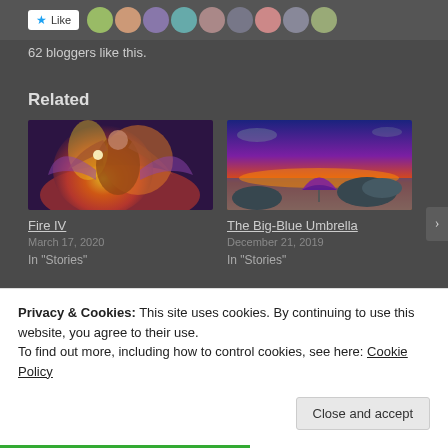[Figure (screenshot): Like button with star icon and row of blogger avatar images]
62 bloggers like this.
Related
[Figure (photo): Fantasy illustration of a woman with fire and wings - Fire IV article thumbnail]
[Figure (photo): Sunset photo with umbrella on rocks near water - The Big-Blue Umbrella article thumbnail]
Fire IV
March 17, 2020
In "Stories"
The Big-Blue Umbrella
December 21, 2019
In "Stories"
Privacy & Cookies: This site uses cookies. By continuing to use this website, you agree to their use.
To find out more, including how to control cookies, see here: Cookie Policy
Close and accept